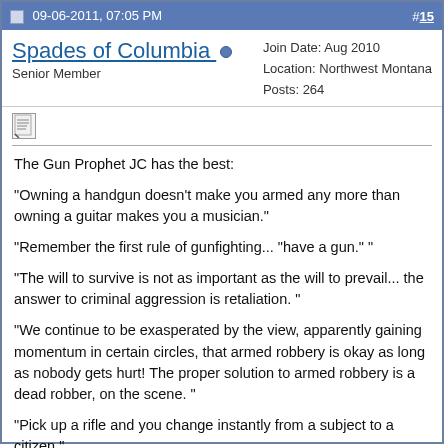09-06-2011, 07:05 PM   #15
Spades of Columbia  Senior Member   Join Date: Aug 2010  Location: Northwest Montana  Posts: 264
The Gun Prophet JC has the best:

"Owning a handgun doesn't make you armed any more than owning a guitar makes you a musician."

"Remember the first rule of gunfighting... "have a gun." "

"The will to survive is not as important as the will to prevail... the answer to criminal aggression is retaliation. "

"We continue to be exasperated by the view, apparently gaining momentum in certain circles, that armed robbery is okay as long as nobody gets hurt! The proper solution to armed robbery is a dead robber, on the scene. "

"Pick up a rifle and you change instantly from a subject to a citizen."

"The police cannot protect the citizen at this stage of our development, and they cannot even protect themselves in many cases. It is up to the private citizen to protect himself and his family, and this is not only acceptable, but mandatory. "